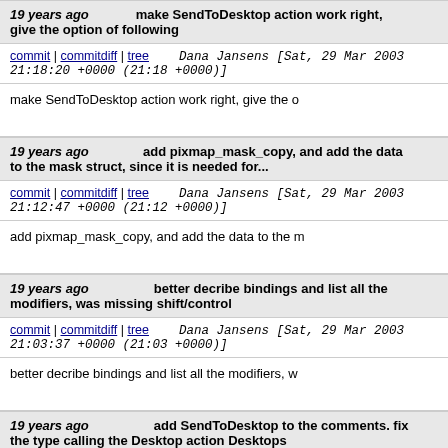19 years ago   make SendToDesktop action work right, give the option of following
commit | commitdiff | tree   Dana Jansens [Sat, 29 Mar 2003 21:18:20 +0000 (21:18 +0000)]
make SendToDesktop action work right, give the o
19 years ago   add pixmap_mask_copy, and add the data to the mask struct, since it is needed for...
commit | commitdiff | tree   Dana Jansens [Sat, 29 Mar 2003 21:12:47 +0000 (21:12 +0000)]
add pixmap_mask_copy, and add the data to the m
19 years ago   better decribe bindings and list all the modifiers, was missing shift/control
commit | commitdiff | tree   Dana Jansens [Sat, 29 Mar 2003 21:03:37 +0000 (21:03 +0000)]
better decribe bindings and list all the modifiers, w
19 years ago   add SendToDesktop to the comments. fix the type calling the Desktop action Desktops
commit | commitdiff | tree   Dana Jansens [Sat, 29 Mar 2003